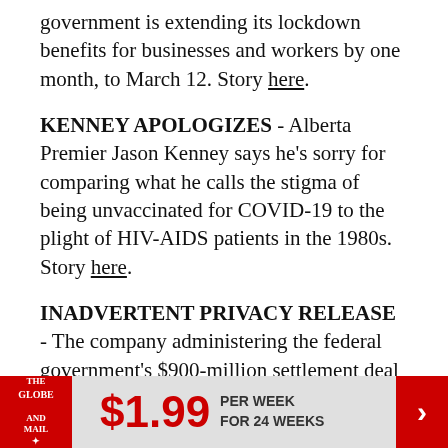government is extending its lockdown benefits for businesses and workers by one month, to March 12. Story here.
KENNEY APOLOGIZES - Alberta Premier Jason Kenney says he's sorry for comparing what he calls the stigma of being unvaccinated for COVID-19 to the plight of HIV-AIDS patients in the 1980s. Story here.
INADVERTENT PRIVACY RELEASE - The company administering the federal government's $900-million settlement deal with Armed Forces members and veterans who experienced sexual misconduct while in uniform has inadvertently
[Figure (other): The Globe and Mail subscription banner advertisement: $1.99 per week for 24 weeks]